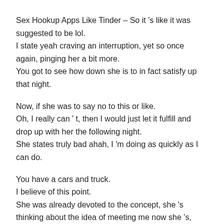Sex Hookup Apps Like Tinder – So it 's like it was suggested to be lol.
I state yeah craving an interruption, yet so once again, pinging her a bit more.
You got to see how down she is to in fact satisfy up that night.
Now, if she was to say no to this or like.
Oh, I really can ' t, then I would just let it fulfill and drop up with her the following night.
She states truly bad ahah, I 'm doing as quickly as I can do.
You have a cars and truck.
I believe of this point.
She was already devoted to the concept, she 's thinking about the idea of meeting me now she 's, trying to see whether the you know the obstacles are gon na be bigger than her desire.